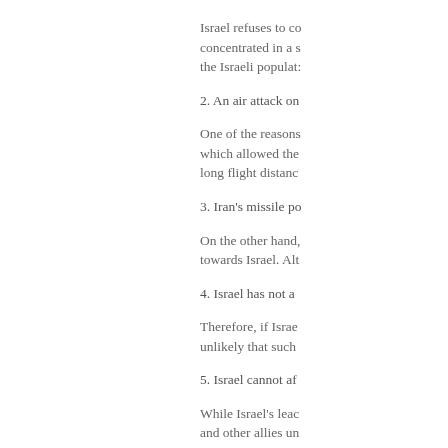Israel refuses to co... concentrated in a s... the Israeli populat...
2. An air attack on...
One of the reasons... which allowed the... long flight distanc...
3. Iran's missile po...
On the other hand,... towards Israel. Alt...
4. Israel has not a...
Therefore, if Israe... unlikely that such...
5. Israel cannot af...
While Israel's leac... and other allies un... pursuit of its nucle... achieved through o... that their words o...